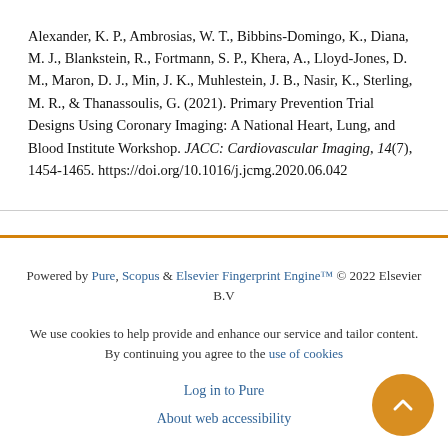Alexander, K. P., Ambrosias, W. T., Bibbins-Domingo, K., Diana, M. J., Blankstein, R., Fortmann, S. P., Khera, A., Lloyd-Jones, D. M., Maron, D. J., Min, J. K., Muhlestein, J. B., Nasir, K., Sterling, M. R., & Thanassoulis, G. (2021). Primary Prevention Trial Designs Using Coronary Imaging: A National Heart, Lung, and Blood Institute Workshop. JACC: Cardiovascular Imaging, 14(7), 1454-1465. https://doi.org/10.1016/j.jcmg.2020.06.042
Powered by Pure, Scopus & Elsevier Fingerprint Engine™ © 2022 Elsevier B.V
We use cookies to help provide and enhance our service and tailor content. By continuing you agree to the use of cookies
Log in to Pure
About web accessibility